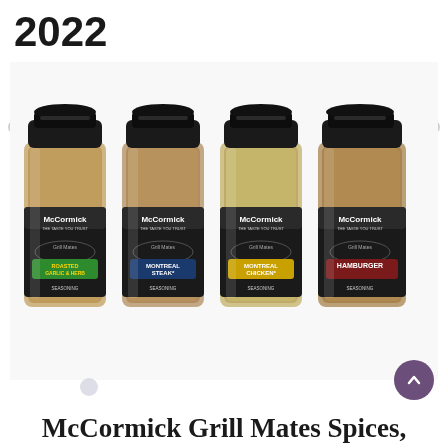2022
[Figure (photo): Four McCormick Grill Mates seasoning spice jars in a row: Roasted Garlic & Herb Seasoning, Montreal Steak Seasoning, Montreal Chicken Seasoning, and Hamburger Seasoning. Each jar has a black lid and black label with the McCormick and Grill Mates branding.]
McCormick Grill Mates Spices,